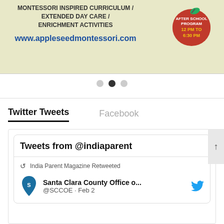[Figure (illustration): Advertisement banner for Appleseed Montessori school with beige background, showing text about Montessori inspired curriculum, extended day care, enrichment activities, an after school program badge (12 PM to 6:30 PM), and website URL www.appleseedmontessori.com]
[Figure (infographic): Carousel navigation dots: three dots, left and right are grey (inactive), center is black (active)]
Twitter Tweets
Facebook
Tweets from @indiaparent
India Parent Magazine Retweeted
Santa Clara County Office o...
@SCCOE · Feb 2